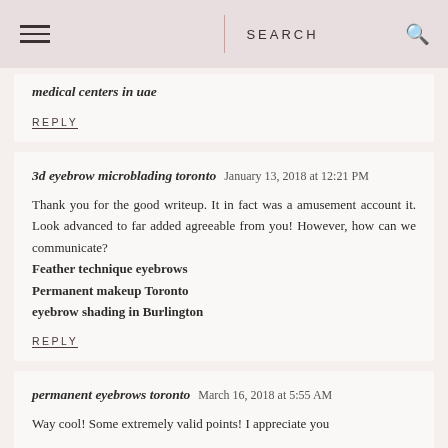SEARCH
medical centers in uae
REPLY
3d eyebrow microblading toronto   January 13, 2018 at 12:21 PM
Thank you for the good writeup. It in fact was a amusement account it. Look advanced to far added agreeable from you! However, how can we communicate? Feather technique eyebrows Permanent makeup Toronto eyebrow shading in Burlington
REPLY
permanent eyebrows toronto   March 16, 2018 at 5:55 AM
Way cool! Some extremely valid points! I appreciate you